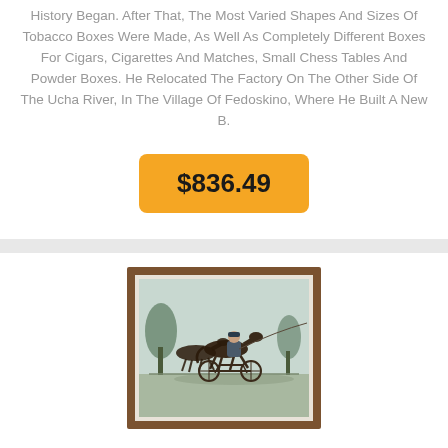History Began. After That, The Most Varied Shapes And Sizes Of Tobacco Boxes Were Made, As Well As Completely Different Boxes For Cigars, Cigarettes And Matches, Small Chess Tables And Powder Boxes. He Relocated The Factory On The Other Side Of The Ucha River, In The Village Of Fedoskino, Where He Built A New B.
$836.49
[Figure (photo): A framed print or painting with a brown wooden frame and light mat border, depicting a horse-drawn sulky racing scene with a driver and two trotting horses, rendered in a vintage engraving style with muted green and grey tones, trees in the background.]